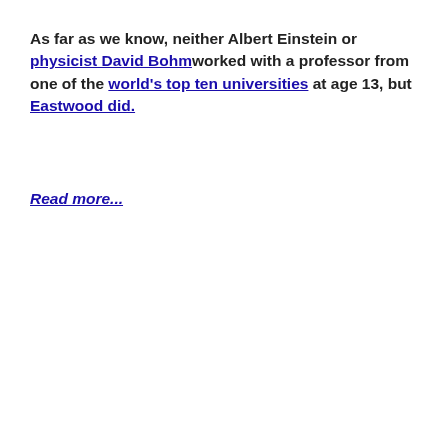As far as we know, neither Albert Einstein or physicist David Bohmworked with a professor from one of the world's top ten universities at age 13, but Eastwood did.
Read more...
[Figure (infographic): Black circle with the number 45 in cyan, next to teal bold text reading: years of research has been put into a collection of powerful world-changing books that show you how to use this science to create what you want in life.]